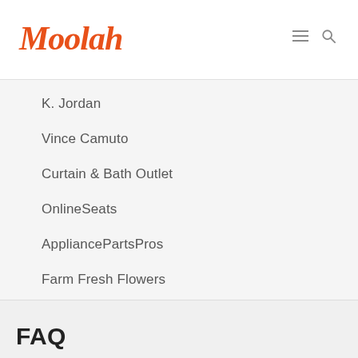Moolah
K. Jordan
Vince Camuto
Curtain & Bath Outlet
OnlineSeats
AppliancePartsPros
Farm Fresh Flowers
View All Stores
FAQ